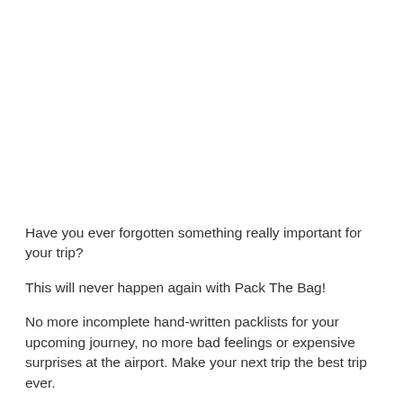Have you ever forgotten something really important for your trip?
This will never happen again with Pack The Bag!
No more incomplete hand-written packlists for your upcoming journey, no more bad feelings or expensive surprises at the airport. Make your next trip the best trip ever.
Pack The Bag for iOS helps you managing your packlists. You